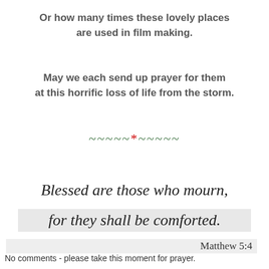Or how many times these lovely places are used in film making.
May we each send up prayer for them at this horrific loss of life from the storm.
~~~~~*~~~~~
Blessed are those who mourn, for they shall be comforted.
Matthew 5:4
No comments - please take this moment for prayer.